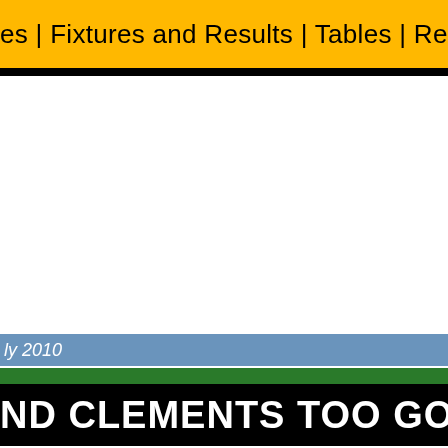es | Fixtures and Results | Tables | Records | Photos |
ly 2010
ND CLEMENTS TOO GOOD FOR NEW M